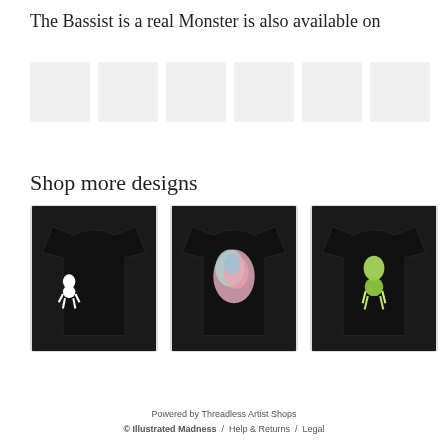The Bassist is a real Monster is also available on
[Figure (photo): Row of six product thumbnail images (grey placeholder boxes) showing various merchandise options]
Shop more designs
[Figure (photo): Black t-shirt with white cartoon character graphic on the left chest/side area]
[Figure (photo): Black t-shirt with colorful face/head graphic in pastel pink and blue tones]
[Figure (photo): Black t-shirt with green/yellow glowing cartoon monster or character graphic]
Powered by Threadless Artist Shops
© Illustrated Madness / Help & Returns / Legal